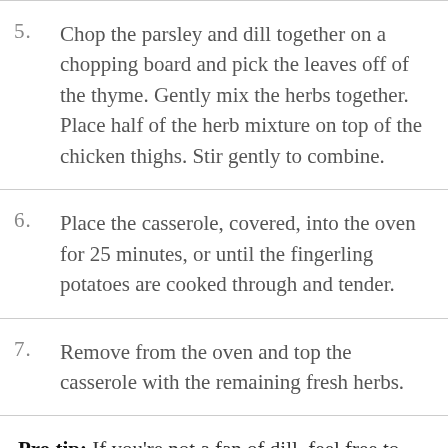5. Chop the parsley and dill together on a chopping board and pick the leaves off of the thyme. Gently mix the herbs together. Place half of the herb mixture on top of the chicken thighs. Stir gently to combine.
6. Place the casserole, covered, into the oven for 25 minutes, or until the fingerling potatoes are cooked through and tender.
7. Remove from the oven and top the casserole with the remaining fresh herbs.
Pro tip: If you're not a fan of dill, feel free to replace it with fresh rosemary or basil! Each of these herbaceous notes will give the dish an entirely new, yet equally delicious flavor profile.